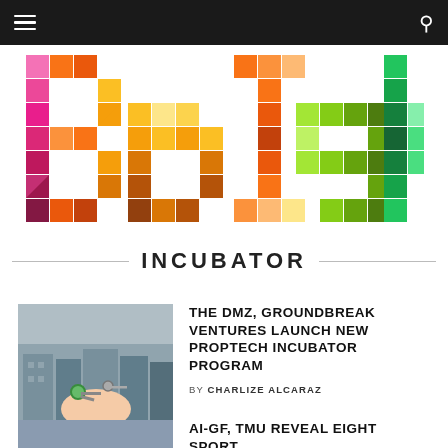Navigation bar with hamburger menu and search icon
[Figure (logo): BetaKit logo — colorful pixel/mosaic style lettering spelling 'betakit' in rainbow gradient colors]
INCUBATOR
[Figure (photo): Hand holding green house keys in front of blurred residential buildings]
THE DMZ, GROUNDBREAK VENTURES LAUNCH NEW PROPTECH INCUBATOR PROGRAM
BY CHARLIZE ALCARAZ
[Figure (photo): Partial image of second article — appears to show a grid/chart image]
AI-GF, TMU REVEAL EIGHT SPORT...